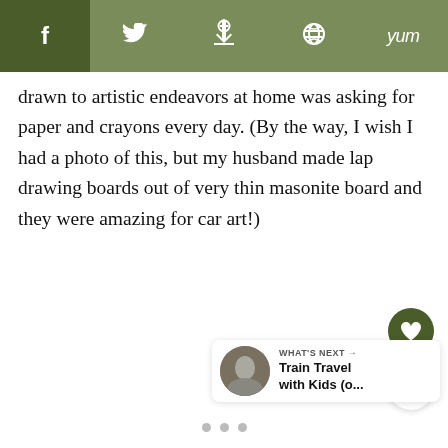f  [twitter]  p  [reddit]  yum
drawn to artistic endeavors at home was asking for paper and crayons every day. (By the way, I wish I had a photo of this, but my husband made lap drawing boards out of very thin masonite board and they were amazing for car art!)
[Figure (other): Round olive-green heart/favorite button and a round white share button on the right side of the page]
[Figure (other): What's Next card showing a thumbnail photo and text 'Train Travel with Kids (o...']
[Figure (other): Three pagination dots at the bottom of the page]